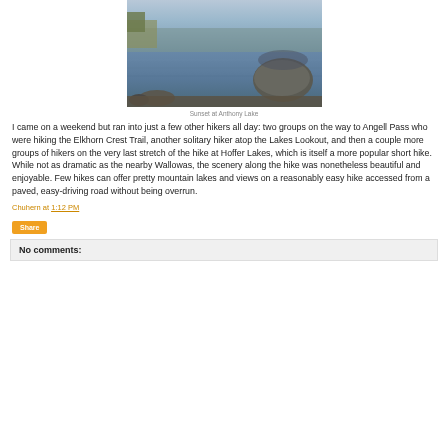[Figure (photo): Photograph of Sunset at Anthony Lake showing a reflective lake surface with rocks and vegetation at dusk]
Sunset at Anthony Lake
I came on a weekend but ran into just a few other hikers all day: two groups on the way to Angell Pass who were hiking the Elkhorn Crest Trail, another solitary hiker atop the Lakes Lookout, and then a couple more groups of hikers on the very last stretch of the hike at Hoffer Lakes, which is itself a more popular short hike. While not as dramatic as the nearby Wallowas, the scenery along the hike was nonetheless beautiful and enjoyable. Few hikes can offer pretty mountain lakes and views on a reasonably easy hike accessed from a paved, easy-driving road without being overrun.
Chuhern at 1:12 PM
Share
No comments: